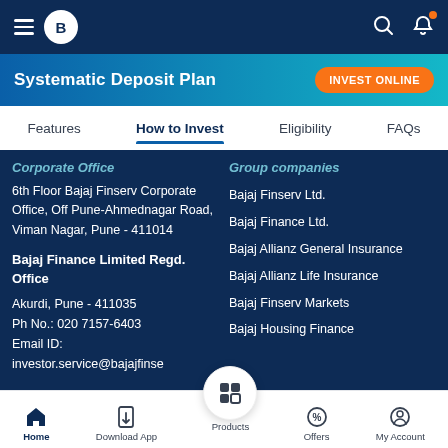Bajaj Finserv app top navigation bar
Systematic Deposit Plan
Features | How to Invest | Eligibility | FAQs
6th Floor Bajaj Finserv Corporate Office, Off Pune-Ahmednagar Road, Viman Nagar, Pune - 411014
Bajaj Finance Limited Regd. Office
Akurdi, Pune - 411035
Ph No.: 020 7157-6403
Email ID: investor.service@bajajfinse
Bajaj Finserv Ltd.
Bajaj Finance Ltd.
Bajaj Allianz General Insurance
Bajaj Allianz Life Insurance
Bajaj Finserv Markets
Bajaj Housing Finance
Home | Download App | Products | Offers | My Account